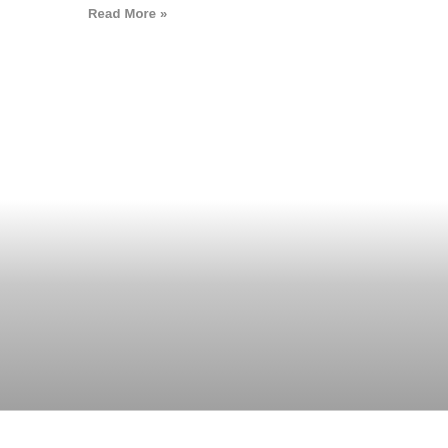Read More »
[Figure (other): Gradient rectangle fading from white at top to gray at bottom, occupying the lower portion of the main content area]
Accept and Close ✕
Your browser settings do not allow cross-site tracking for advertising. Click on this page to allow AdRoll to use cross-site tracking to tailor ads to you. Learn more or opt out of this AdRoll tracking by clicking here. This message only appears once.